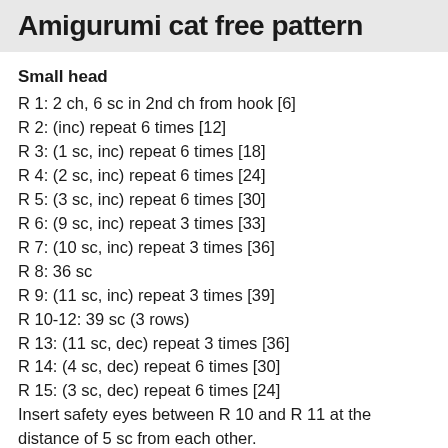Amigurumi cat free pattern
Small head
R 1: 2 ch, 6 sc in 2nd ch from hook [6]
R 2: (inc) repeat 6 times [12]
R 3: (1 sc, inc) repeat 6 times [18]
R 4: (2 sc, inc) repeat 6 times [24]
R 5: (3 sc, inc) repeat 6 times [30]
R 6: (9 sc, inc) repeat 3 times [33]
R 7: (10 sc, inc) repeat 3 times [36]
R 8: 36 sc
R 9: (11 sc, inc) repeat 3 times [39]
R 10-12: 39 sc (3 rows)
R 13: (11 sc, dec) repeat 3 times [36]
R 14: (4 sc, dec) repeat 6 times [30]
R 15: (3 sc, dec) repeat 6 times [24]
Insert safety eyes between R 10 and R 11 at the distance of 5 sc from each other.